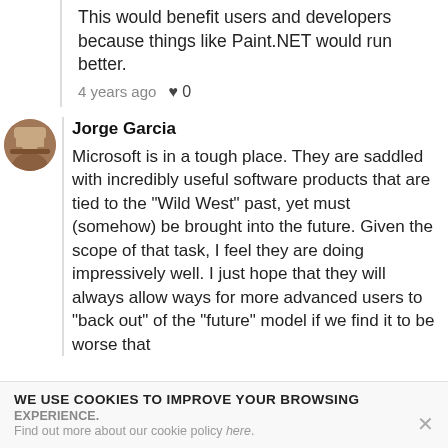This would benefit users and developers because things like Paint.NET would run better.
4 years ago  ♥ 0
Jorge Garcia
Microsoft is in a tough place. They are saddled with incredibly useful software products that are tied to the "Wild West" past, yet must (somehow) be brought into the future. Given the scope of that task, I feel they are doing impressively well. I just hope that they will always allow ways for more advanced users to "back out" of the "future" model if we find it to be worse that
WE USE COOKIES TO IMPROVE YOUR BROWSING EXPERIENCE.
Find out more about our cookie policy here.